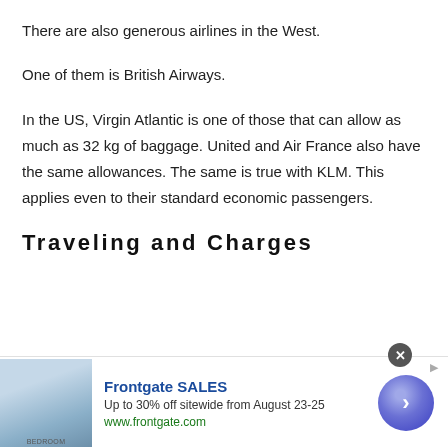There are also generous airlines in the West.
One of them is British Airways.
In the US, Virgin Atlantic is one of those that can allow as much as 32 kg of baggage. United and Air France also have the same allowances. The same is true with KLM. This applies even to their standard economic passengers.
Traveling and Charges
[Figure (other): Advertisement banner for Frontgate SALES. Image of bedroom bedding on left. Text: Frontgate SALES, Up to 30% off sitewide from August 23-25, www.frontgate.com. Arrow button on right.]